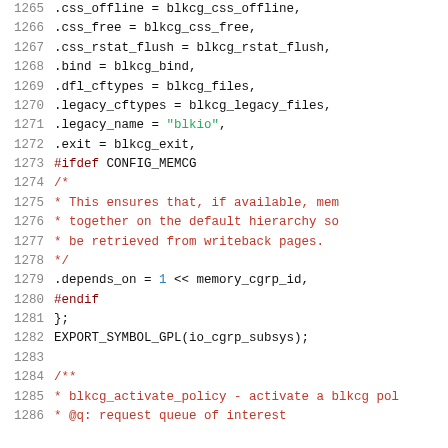[Figure (screenshot): Source code listing in C showing lines 1265-1286 of a kernel file, with syntax highlighting: line numbers in gray, preprocessor directives and comments in red, string literals in green, plain code in dark/black.]